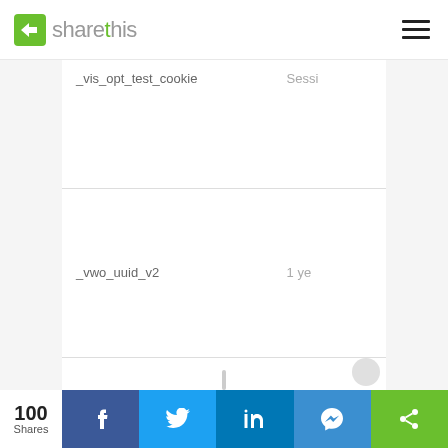sharethis
| Cookie | Duration |
| --- | --- |
| _vis_opt_test_cookie | Sessi |
| _vwo_uuid_v2 | 1 ye |
|  |  |
100 Shares | Facebook | Twitter | LinkedIn | Messenger | ShareThis